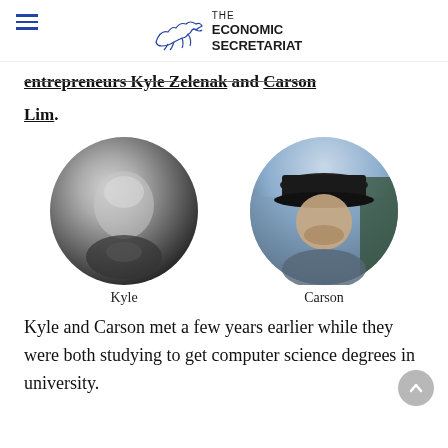THE ECONOMIC SECRETARIAT
entrepreneurs Kyle Zelenak and Carson Lim.
[Figure (photo): Circular black-and-white portrait photo of Kyle, a young man in a suit, with caption 'Kyle' below]
[Figure (photo): Circular color portrait photo of Carson, a man wearing a black cap outdoors near the ocean, with caption 'Carson' below]
Kyle and Carson met a few years earlier while they were both studying to get computer science degrees in university.